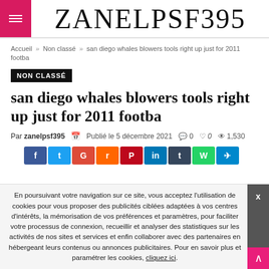ZANELPSF395
Accueil » Non classé » san diego whales blowers tools right up just for 2011 footba
NON CLASSÉ
san diego whales blowers tools right up just for 2011 footba
Par zanelpsf395   Publié le 5 décembre 2021   0   0   1,530
En poursuivant votre navigation sur ce site, vous acceptez l'utilisation de cookies pour vous proposer des publicités ciblées adaptées à vos centres d'intérêts, la mémorisation de vos préférences et paramètres, pour faciliter votre processus de connexion, recueillir et analyser des statistiques sur les activités de nos sites et services et enfin collaborer avec des partenaires en hébergeant leurs contenus ou annonces publicitaires. Pour en savoir plus et paramétrer les cookies, cliquez ici.